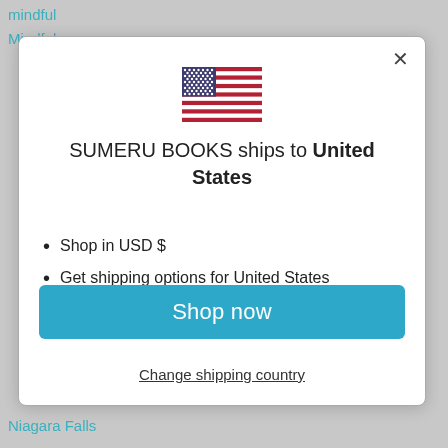mindful
Mindfulness
[Figure (illustration): US flag SVG icon]
SUMERU BOOKS ships to United States
Shop in USD $
Get shipping options for United States
Shop now
Change shipping country
Niagara Falls